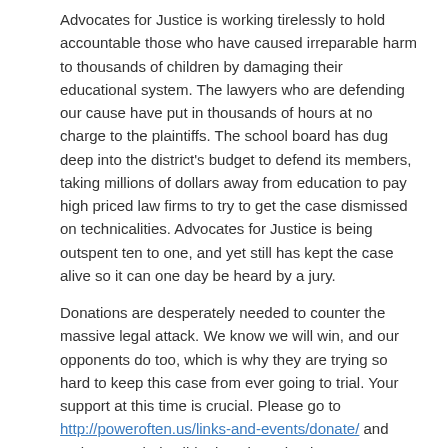Advocates for Justice is working tirelessly to hold accountable those who have caused irreparable harm to thousands of children by damaging their educational system. The lawyers who are defending our cause have put in thousands of hours at no charge to the plaintiffs. The school board has dug deep into the district's budget to defend its members, taking millions of dollars away from education to pay high priced law firms to try to get the case dismissed on technicalities. Advocates for Justice is being outspent ten to one, and yet still has kept the case alive so it can one day be heard by a jury.
Donations are desperately needed to counter the massive legal attack. We know we will win, and our opponents do too, which is why they are trying so hard to keep this case from ever going to trial. Your support at this time is crucial. Please go to http://poweroften.us/links-and-events/donate/ and make a tax deductible donation. Thank You!
Share this: